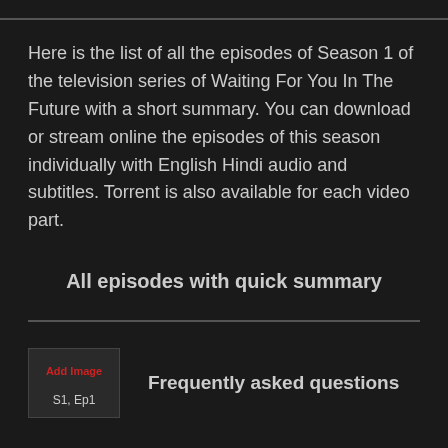Here is the list of all the episodes of Season 1 of the television series of Waiting For You In The Future with a short summary. You can download or stream online the episodes of this season individually with English Hindi audio and subtitles. Torrent is also available for each video part.
All episodes with quick summary
[Figure (other): Thumbnail placeholder with red 'Add Image' text and label 'S1, Ep1']
Frequently asked questions